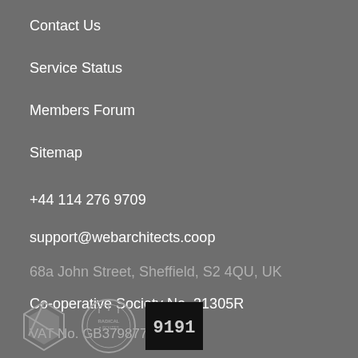Contact Us
Service Status
Members Forum
Sitemap
+44 114 276 9709
support@webarchitects.coop
68a John Street, Sheffield, S2 4QU, UK
Co-operative Society No. 31305R
VAT No. GB379877412
Privacy Policy
[Figure (logo): Three logos at the bottom: a grey geometric shape logo, a Radical Routes circular badge logo, and a black square logo with stylized text 9191]